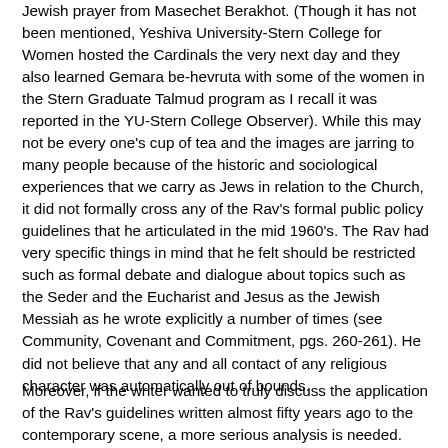Jewish prayer from Masechet Berakhot. (Though it has not been mentioned, Yeshiva University-Stern College for Women hosted the Cardinals the very next day and they also learned Gemara be-hevruta with some of the women in the Stern Graduate Talmud program as I recall it was reported in the YU-Stern College Observer). While this may not be every one's cup of tea and the images are jarring to many people because of the historic and sociological experiences that we carry as Jews in relation to the Church, it did not formally cross any of the Rav's formal public policy guidelines that he articulated in the mid 1960's. The Rav had very specific things in mind that he felt should be restricted such as formal debate and dialogue about topics such as the Seder and the Eucharist and Jesus as the Jewish Messiah as he wrote explicitly a number of times (see Community, Covenant and Commitment, pgs. 260-261). He did not believe that any and all contact of any religious character was automatically out of bounds.
Moreover, if the writer wanted to truly discuss the application of the Rav's guidelines written almost fifty years ago to the contemporary scene, a more serious analysis is needed.